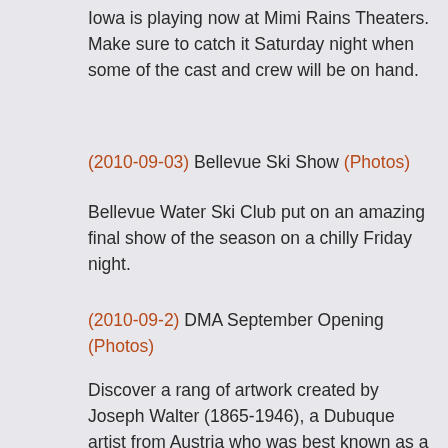Iowa is playing now at Mimi Rains Theaters. Make sure to catch it Saturday night when some of the cast and crew will be on hand.
(2010-09-03) Bellevue Ski Show (Photos)
Bellevue Water Ski Club put on an amazing final show of the season on a chilly Friday night.
(2010-09-2) DMA September Opening (Photos)
Discover a rang of artwork created by Joseph Walter (1865-1946), a Dubuque artist from Austria who was best known as a church painter, in the first-ever retrospective of his work, and Mary Griep: Medieval Temples of Southeast Asia